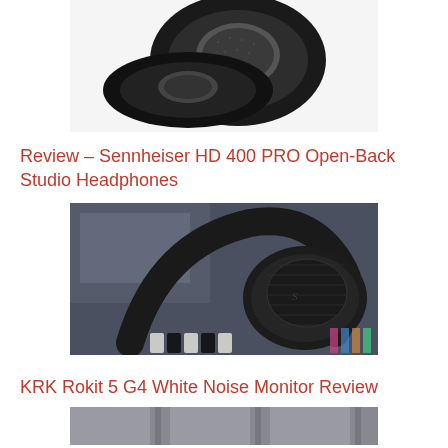[Figure (photo): Photo of two black velour ear cushion pads for headphones, viewed from above on a white background]
Review – Sennheiser HD 400 PRO Open-Back Studio Headphones
[Figure (photo): Close-up photo of a Sennheiser HD 400 PRO open-back studio headphone resting on a keyboard, with blurred studio monitor in background]
KRK Rokit 5 G4 White Noise Monitor Review
[Figure (photo): Partial bottom photo, appears to show audio equipment]